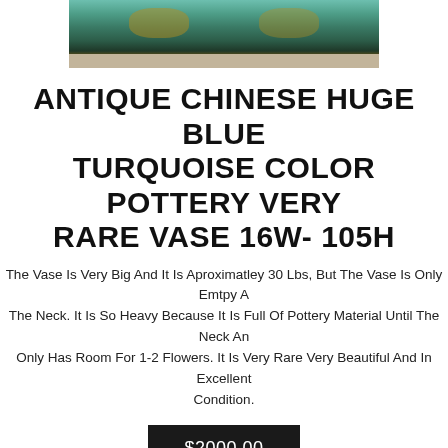[Figure (photo): Partial view of a large antique Chinese blue turquoise color pottery vase, showing the top portion with gold/brown decorative elements against a light background]
ANTIQUE CHINESE HUGE BLUE TURQUOISE COLOR POTTERY VERY RARE VASE 16W- 105H
The Vase Is Very Big And It Is Aproximatley 30 Lbs, But The Vase Is Only Emtpy At The Neck. It Is So Heavy Because It Is Full Of Pottery Material Until The Neck And Only Has Room For 1-2 Flowers. It Is Very Rare Very Beautiful And In Excellent Condition.
$2000.00
OTTERY INFORMATION
"CHINA POTTERY WUCAI PORCELAIN